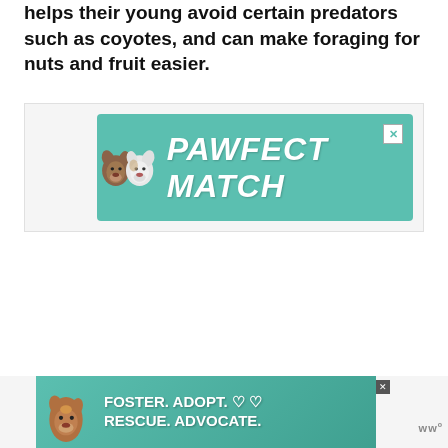helps their young avoid certain predators such as coyotes, and can make foraging for nuts and fruit easier.
[Figure (illustration): Advertisement banner for 'PAWFECT MATCH' showing two dog faces on a teal/mint green background with decorative paw print pattern. Has a close (X) button in the top right corner.]
[Figure (illustration): Advertisement banner showing a brown/tan dog with text 'FOSTER. ADOPT. RESCUE. ADVOCATE.' on teal background with heart symbols. Has a close (X) button. Small 'w' wordmark at right.]